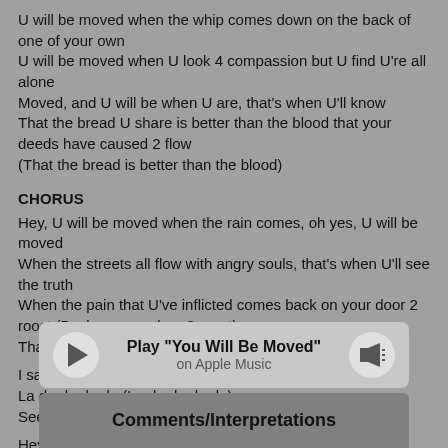U will be moved when the whip comes down on the back of one of your own
U will be moved when U look 4 compassion but U find U're all alone
Moved, and U will be when U are, that's when U'll know
That the bread U share is better than the blood that your deeds have caused 2 flow
(That the bread is better than the blood)
CHORUS
Hey, U will be moved when the rain comes, oh yes, U will be moved
When the streets all flow with angry souls, that's when U'll see the truth
When the pain that U've inflicted comes back on your door 2 roost (Back on your door 2 roost)
That's when U'll see the future (future), but U won't see U
I said surely when the rain comes, U will be moved
La da da da da (La da da da da)
See the video
Hey, surely, surely, surely (when the rain comes)
Surely y'all
Ow, la da da da da
[Figure (other): Music player bar with play button, song title 'Play "You Will Be Moved"' and 'on Apple Music' subtitle, and volume/speaker button]
Comments/Interpretations